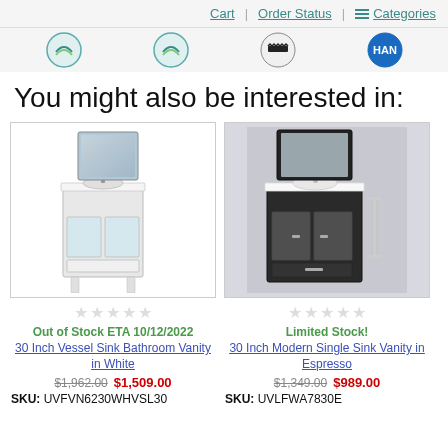Cart | Order Status | Categories
[Figure (logo): Four circular brand logos in a row]
You might also be interested in:
[Figure (photo): 30 Inch Vessel Sink Bathroom Vanity in White - product photo showing white vanity with vessel sink and mirror]
Out of Stock ETA 10/12/2022
30 Inch Vessel Sink Bathroom Vanity in White
$1,962.00 $1,509.00
SKU: UVFVN6230WHVSL30
[Figure (photo): 30 Inch Modern Single Sink Vanity in Espresso - product photo showing dark espresso vanity with vessel sink and mirror]
Limited Stock!
30 Inch Modern Single Sink Vanity in Espresso
$1,349.00 $989.00
SKU: UVLFWA7830E